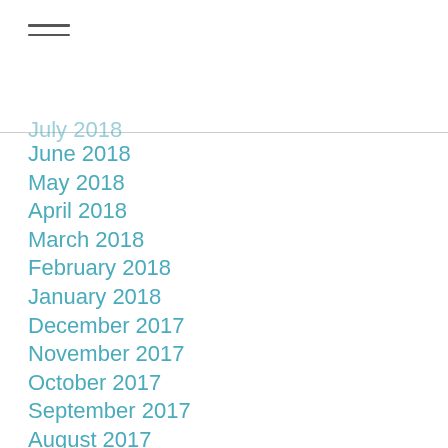July 2018 (partial, cut off)
June 2018
May 2018
April 2018
March 2018
February 2018
January 2018
December 2017
November 2017
October 2017
September 2017
August 2017
July 2017
June 2017
May 2017
April 2017
March 2017
February 2017